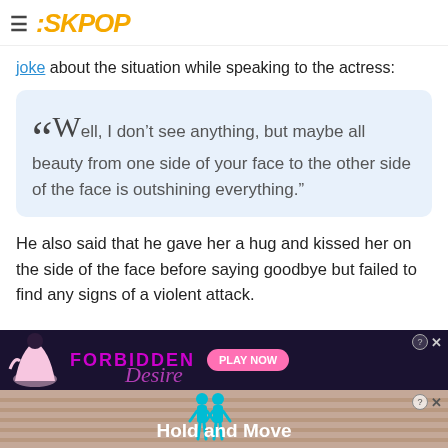SKPOP
joke about the situation while speaking to the actress:
"Well, I don't see anything, but maybe all beauty from one side of your face to the other side of the face is outshining everything."
He also said that he gave her a hug and kissed her on the side of the face before saying goodbye but failed to find any signs of a violent attack.
[Figure (illustration): Two overlapping advertisement banners. Top ad shows 'FORBIDDEN' text in purple with a 'PLAY NOW' pink button and a stylized female figure. Bottom ad shows 'Hold and Move' text in white with two blue figures and striped background.]